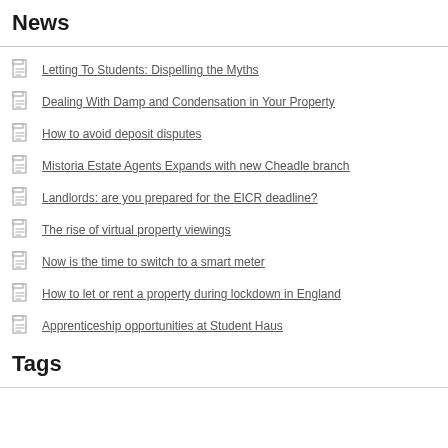News
Letting To Students: Dispelling the Myths
Dealing With Damp and Condensation in Your Property
How to avoid deposit disputes
Mistoria Estate Agents Expands with new Cheadle branch
Landlords: are you prepared for the EICR deadline?
The rise of virtual property viewings
Now is the time to switch to a smart meter
How to let or rent a property during lockdown in England
Apprenticeship opportunities at Student Haus
Tags